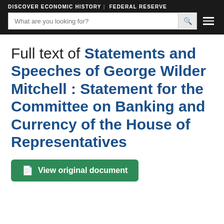DISCOVER ECONOMIC HISTORY | FEDERAL RESERVE
Full text of Statements and Speeches of George Wilder Mitchell : Statement for the Committee on Banking and Currency of the House of Representatives
View original document